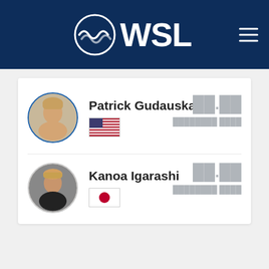WSL
Patrick Gudauskas
[Figure (illustration): US flag icon]
Kanoa Igarashi
[Figure (illustration): Japan flag icon]